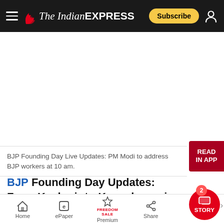The Indian EXPRESS — Subscribe
[Figure (other): Advertisement / white space area below the navigation bar]
BJP Founding Day Live Updates: PM Modi to address BJP workers at 10 am.
BJP Founding Day Updates: From Kashmir to Kanyakumari, from Kutch to Kohima, BJP h...
Home  ePaper  Premium (FREEDOM SALE)  Share  STORY